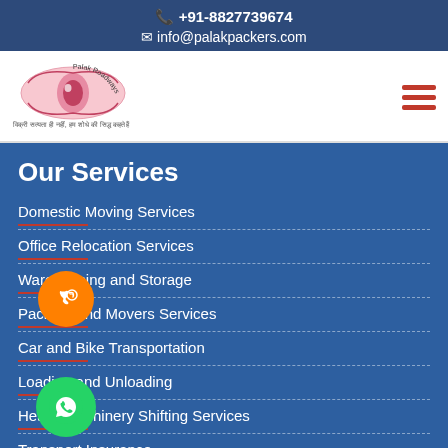📞 +91-8827739674
✉ info@palakpackers.com
[Figure (logo): Palak Roadways Packers & Movers logo with eye graphic and Hindi tagline]
Our Services
Domestic Moving Services
Office Relocation Services
Warehousing and Storage
Packers and Movers Services
Car and Bike Transportation
Loading and Unloading
Heavy Machinery Shifting Services
Transport Insurance